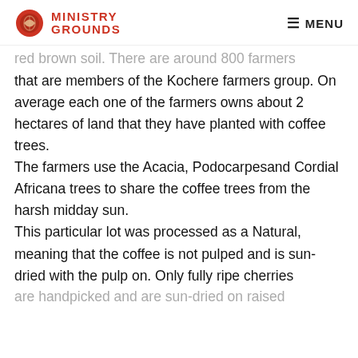MINISTRY GROUNDS | MENU
red brown soil. There are around 800 farmers that are members of the Kochere farmers group. On average each one of the farmers owns about 2 hectares of land that they have planted with coffee trees. The farmers use the Acacia, Podocarpesand Cordial Africana trees to share the coffee trees from the harsh midday sun. This particular lot was processed as a Natural, meaning that the coffee is not pulped and is sun-dried with the pulp on. Only fully ripe cherries are handpicked and are sun-dried on raised